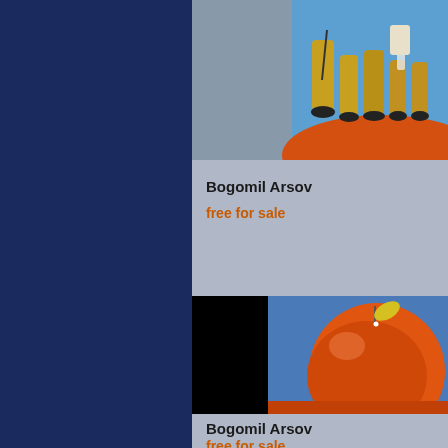[Figure (illustration): Painting showing stylized musicians/figures with instruments on orange and blue background, partially cut off at top]
Bogomil Arsov
free for sale
[Figure (illustration): Painting of a large orange apple or fruit on blue background, with a black redacted strip on the left side]
Bogomil Arsov
free for sale